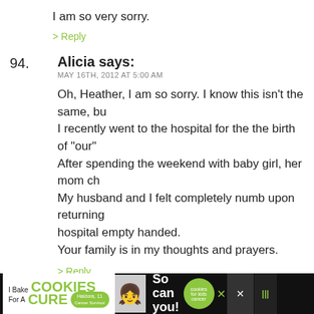I am so very sorry.
> Reply
94. Alicia says:
MAY 16TH, 2012 AT 5:00 AM
Oh, Heather, I am so sorry. I know this isn't the same, bu... I recently went to the hospital for the the birth of "our"... After spending the weekend with baby girl, her mom ch... My husband and I felt completely numb upon returning... hospital empty handed.
Your family is in my thoughts and prayers.
> Reply
meg....ct says:
MAY 16TH, 2012 AT 6:27 AM
Alicia...what a heartbreak...I hope your baby finds its...
> Reply
[Figure (infographic): Advertisement banner: I Bake COOKIES For A CURE - Haldora, 11 Cancer Survivor. So can you! cookies for kids cancer logo. Close and social media buttons.]